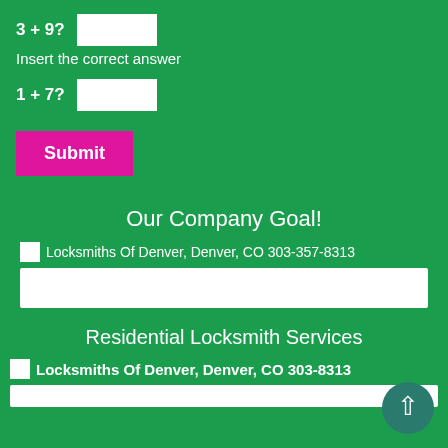3 + 9?
Insert the correct answer
1 + 7?
Submit
Our Company Goal!
[Figure (other): Locksmiths Of Denver, Denver, CO 303-357-8313 (broken image placeholder)]
Residential Locksmith Services
[Figure (other): Locksmiths Of Denver, Denver, CO 303-8313 (broken image placeholder, partial text visible)]